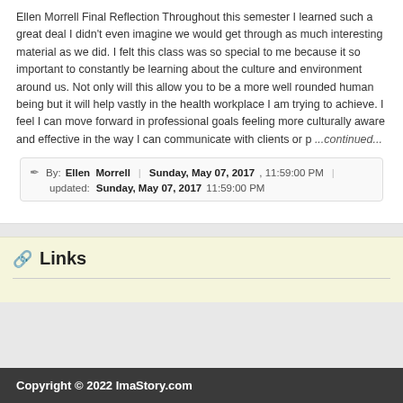Ellen Morrell Final Reflection Throughout this semester I learned such a great deal I didn't even imagine we would get through as much interesting material as we did. I felt this class was so special to me because it so important to constantly be learning about the culture and environment around us. Not only will this allow you to be a more well rounded human being but it will help vastly in the health workplace I am trying to achieve. I feel I can move forward in professional goals feeling more culturally aware and effective in the way I can communicate with clients or p ...continued...
By: Ellen Morrell | Sunday, May 07, 2017, 11:59:00 PM | updated: Sunday, May 07, 2017 11:59:00 PM
Links
Copyright © 2022 ImaStory.com